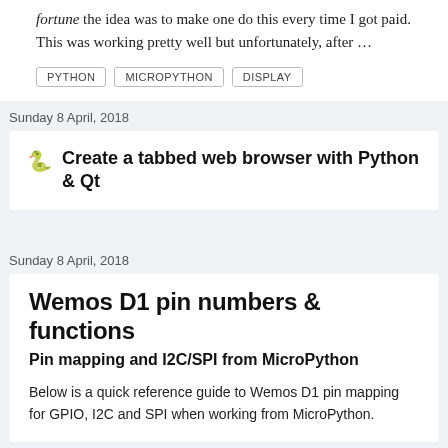fortune the idea was to make one do this every time I got paid. This was working pretty well but unfortunately, after …
PYTHON
MICROPYTHON
DISPLAY
Sunday 8 April, 2018
Create a tabbed web browser with Python & Qt
Sunday 8 April, 2018
Wemos D1 pin numbers & functions
Pin mapping and I2C/SPI from MicroPython
Below is a quick reference guide to Wemos D1 pin mapping for GPIO, I2C and SPI when working from MicroPython.